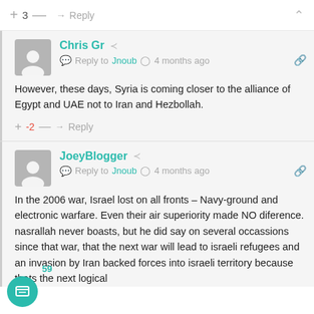+ 3 — → Reply ∧
Chris Gr  Reply to Jnoub  4 months ago
However, these days, Syria is coming closer to the alliance of Egypt and UAE not to Iran and Hezbollah.
+ -2 — → Reply
JoeyBlogger  Reply to Jnoub  4 months ago
In the 2006 war, Israel lost on all fronts – Navy-ground and electronic warfare. Even their air superiority made NO diference. nasrallah never boasts, but he did say on several occassions since that war, that the next war will lead to israeli refugees and an invasion by Iran backed forces into israeli territory because thats the next logical